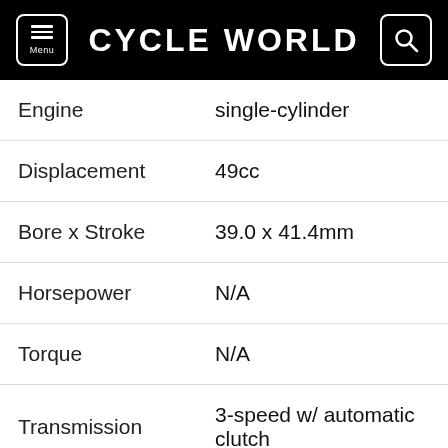CYCLE WORLD
|  |  |
| --- | --- |
| Engine | single-cylinder |
| Displacement | 49cc |
| Bore x Stroke | 39.0 x 41.4mm |
| Horsepower | N/A |
| Torque | N/A |
| Transmission | 3-speed w/ automatic clutch |
| Final Drive | Chain |